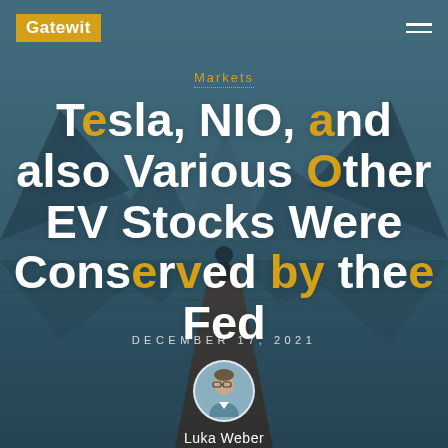Gatewit
Markets
Tesla, NIO, and also Various Other EV Stocks Were Conserved by the Fed
DECEMBER 17, 2021
Luka Weber